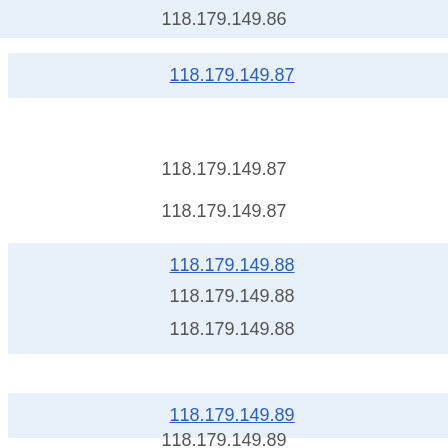118.179.149.86
118.179.149.87
118.179.149.87
118.179.149.87
118.179.149.88
118.179.149.88
118.179.149.88
118.179.149.89
118.179.149.89